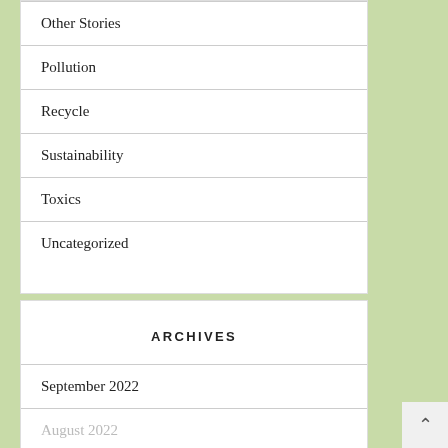Other Stories
Pollution
Recycle
Sustainability
Toxics
Uncategorized
ARCHIVES
September 2022
August 2022